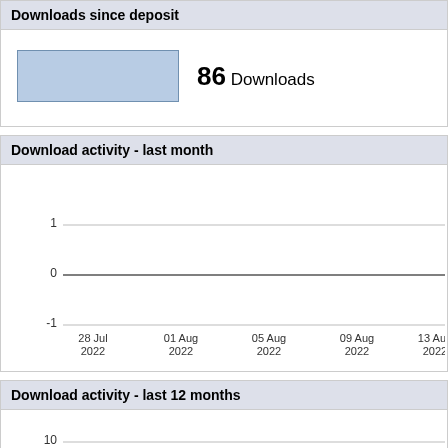Downloads since deposit
86 Downloads
Download activity - last month
[Figure (line-chart): Download activity - last month]
Download activity - last 12 months